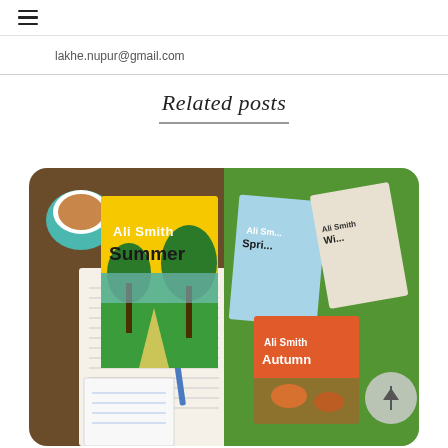≡
lakhe.nupur@gmail.com
Related posts
[Figure (photo): Two-panel photo collage: left panel shows the book 'Ali Smith Summer' with a yellow cover, placed on an open book next to a pen and a cup of coffee/tea; right panel shows multiple Ali Smith books (Spring, Winter, Autumn) arranged on a green grass background.]